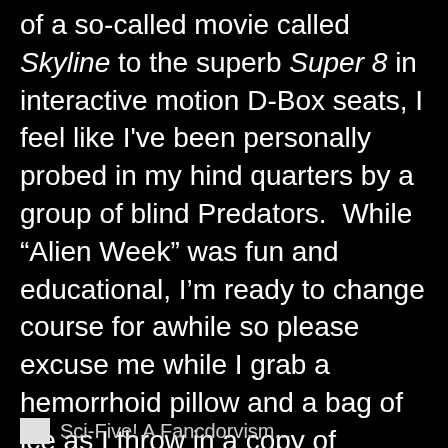of a so-called movie called Skyline to the superb Super 8 in interactive motion D-Box seats, I feel like I've been personally probed in my hind quarters by a group of blind Predators.  While "Alien Week" was fun and educational, I'm ready to change course for awhile so please excuse me while I grab a hemorrhoid pillow and a bag of ice as I throw in a copy of Disney's Tangled into my Blu-Ray player for the next 27 days."
I give the experience as a whole 4.5 out 5 sci-fives!
Sci-Five! A Fancdorvism...